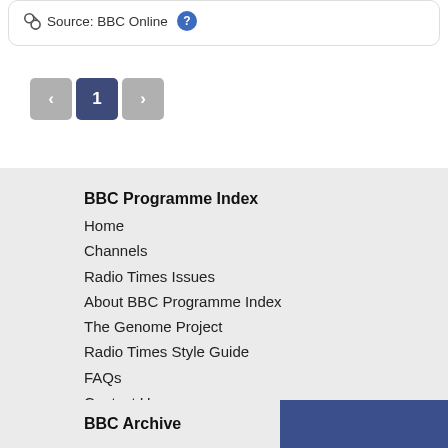Source: BBC Online
[Figure (screenshot): Pagination controls showing left arrow (previous), current page 1, and right arrow (next) buttons]
BBC Programme Index
Home
Channels
Radio Times Issues
About BBC Programme Index
The Genome Project
Radio Times Style Guide
FAQs
Contact Us
BBC Archive